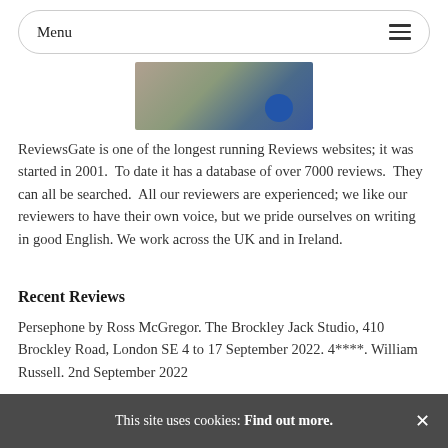Menu
[Figure (photo): Partial photo showing outdoor scene with blue spherical object on paved surface]
ReviewsGate is one of the longest running Reviews websites; it was started in 2001. To date it has a database of over 7000 reviews. They can all be searched. All our reviewers are experienced; we like our reviewers to have their own voice, but we pride ourselves on writing in good English. We work across the UK and in Ireland.
Recent Reviews
Persephone by Ross McGregor. The Brockley Jack Studio, 410 Brockley Road, London SE 4 to 17 September 2022. 4****. William Russell. 2nd September 2022
This site uses cookies: Find out more. ×